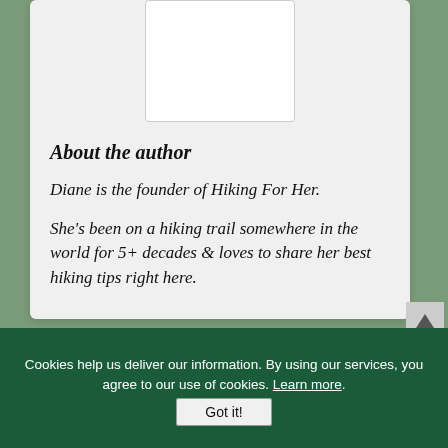[Figure (photo): Author photo placeholder — white rectangle]
About the author
Diane is the founder of Hiking For Her.
She's been on a hiking trail somewhere in the world for 5+ decades & loves to share her best hiking tips right here.
[Figure (other): Teal-bordered input box at bottom of page]
Cookies help us deliver our information. By using our services, you agree to our use of cookies. Learn more.
Got it!